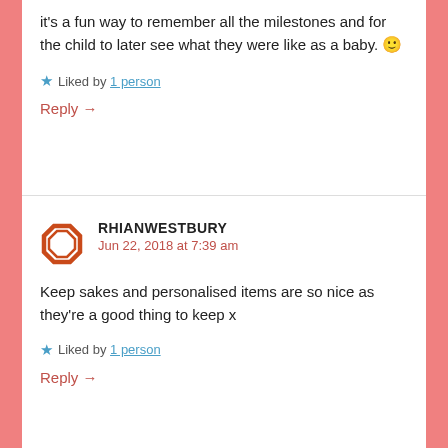it's a fun way to remember all the milestones and for the child to later see what they were like as a baby. 🙂
★ Liked by 1 person
Reply →
RHIANWESTBURY
Jun 22, 2018 at 7:39 am
Keep sakes and personalised items are so nice as they're a good thing to keep x
★ Liked by 1 person
Reply →